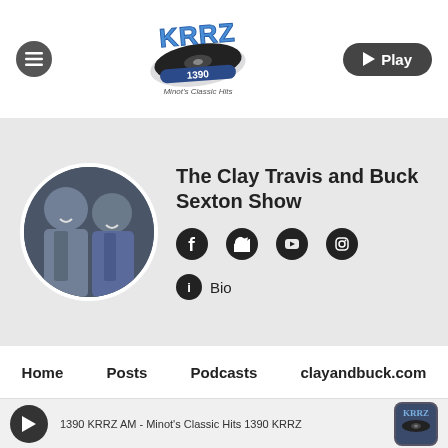[Figure (logo): KRRZ 1390 AM Minot's Classic Hits radio station logo with vinyl record graphic]
The Clay Travis and Buck Sexton Show
[Figure (photo): Circular photo of two male radio show hosts, Clay Travis and Buck Sexton, both smiling]
Facebook icon
Twitter icon
YouTube icon
Instagram icon
Bio
Home  Posts  Podcasts  clayandbuck.com
1390 KRRZ AM - Minot's Classic Hits 1390 KRRZ